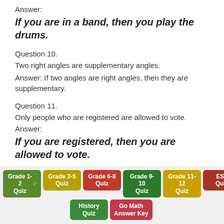Answer:
If you are in a band, then you play the drums.
Question 10.
Two right angles are supplementary angles.
Answer: If two angles are right angles, then they are supplementary.
Question 11.
Only people who are registered are allowed to vote.
Answer:
If you are registered, then you are allowed to vote.
Question 12.
Grade 1-2 Quiz  Grade 3-5 Quiz  Grade 6-8 Quiz  Grade 9-10 Quiz  Grade 11-12 Quiz  ESL Quiz  History Quiz  Go Math Answer Key